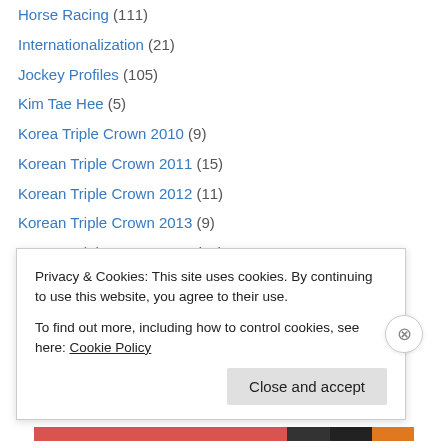Horse Racing (111)
Internationalization (21)
Jockey Profiles (105)
Kim Tae Hee (5)
Korea Triple Crown 2010 (9)
Korean Triple Crown 2011 (15)
Korean Triple Crown 2012 (11)
Korean Triple Crown 2013 (9)
Korean Triple Crown 2014 (10)
Korean Triple Crown 2015 (13)
Korean Triple Crown 2016 (10)
Korean Triple Crown 2017 (7)
Korean Triple Crown 2018 (8)
News (645)
Privacy & Cookies: This site uses cookies. By continuing to use this website, you agree to their use. To find out more, including how to control cookies, see here: Cookie Policy
Close and accept